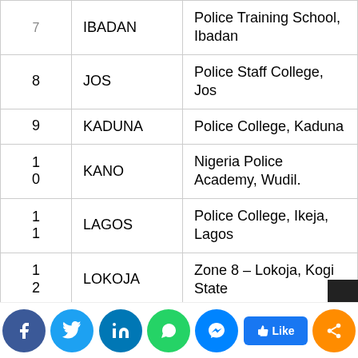| # | ZONE | VENUE |
| --- | --- | --- |
| 7 | IBADAN | Police Training School, Ibadan |
| 8 | JOS | Police Staff College, Jos |
| 9 | KADUNA | Police College, Kaduna |
| 10 | KANO | Nigeria Police Academy, Wudil. |
| 11 | LAGOS | Police College, Ikeja, Lagos |
| 12 | LOKOJA | Zone 8 – Lokoja, Kogi State |
| 13 | MAIDUGURI | Police College, Maiduguri |